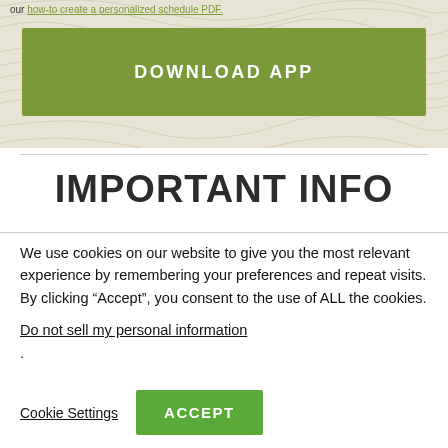[Figure (illustration): Topographic map background pattern (beige/tan with contour lines) with a green 'DOWNLOAD APP' button overlay and partial text link at top reading 'our how-to create a personalized schedule PDF.']
IMPORTANT INFO
We use cookies on our website to give you the most relevant experience by remembering your preferences and repeat visits. By clicking “Accept”, you consent to the use of ALL the cookies.
Do not sell my personal information.
Cookie Settings   ACCEPT